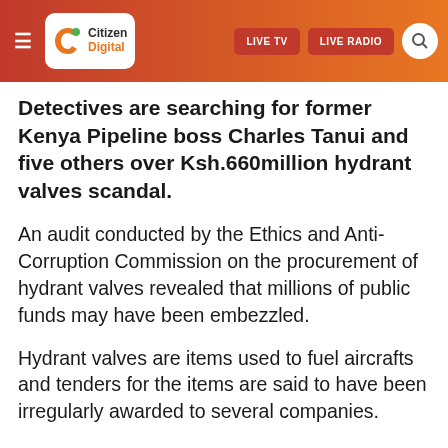Citizen Digital — LIVE TV | LIVE RADIO
Detectives are searching for former Kenya Pipeline boss Charles Tanui and five others over Ksh.660million hydrant valves scandal.
An audit conducted by the Ethics and Anti-Corruption Commission on the procurement of hydrant valves revealed that millions of public funds may have been embezzled.
Hydrant valves are items used to fuel aircrafts and tenders for the items are said to have been irregularly awarded to several companies.